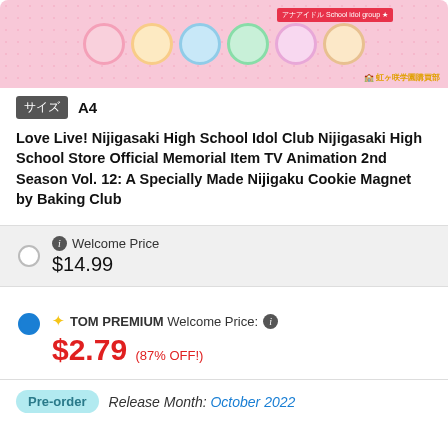[Figure (illustration): Pink background product image showing anime-style cookie magnets arranged in a row, with a red promotional badge and gold/red logo in the corner]
サイズ  A4
Love Live! Nijigasaki High School Idol Club Nijigasaki High School Store Official Memorial Item TV Animation 2nd Season Vol. 12: A Specially Made Nijigaku Cookie Magnet by Baking Club
Welcome Price
$14.99
TOM PREMIUM Welcome Price:
$2.79 (87% OFF!)
Pre-order  Release Month: October 2022